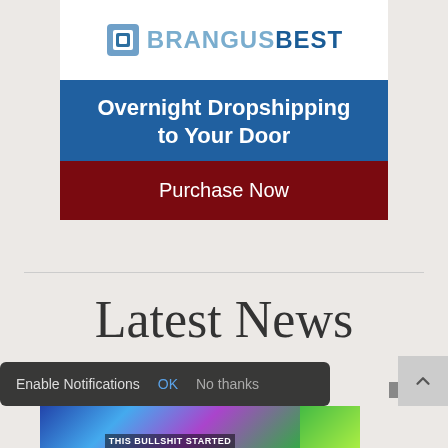[Figure (logo): BrangusBest logo with icon and stylized text on white background]
Overnight Dropshipping to Your Door
Purchase Now
Latest News
Enable Notifications  OK  No thanks
[Figure (screenshot): Thumbnail image strip with 'THIS BULLSHIT STARTED' caption text and partial '2 TO HE' text visible]
[Figure (other): Scroll-to-top button with upward arrow chevron]